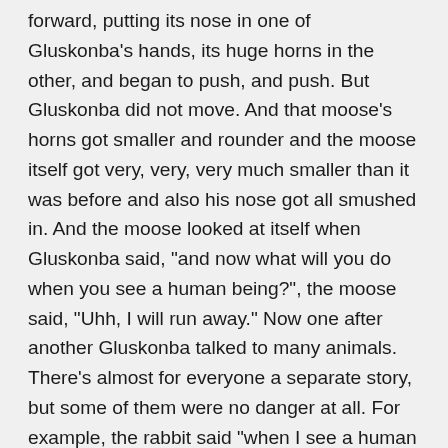forward, putting its nose in one of Gluskonba's hands, its huge horns in the other, and began to push, and push. But Gluskonba did not move. And that moose's horns got smaller and rounder and the moose itself got very, very, very much smaller than it was before and also his nose got all smushed in. And the moose looked at itself when Gluskonba said, "and now what will you do when you see a human being?", the moose said, "Uhh, I will run away." Now one after another Gluskonba talked to many animals. There's almost for everyone a separate story, but some of them were no danger at all. For example, the rabbit said "when I see a human being I will run around in circles foolishly and be terrified!" which is what rabbit does to this day. Little mice they said "we will sneak into their houses and eat their food!" and Gluskonba said "well, that's not going to hurt them, you can do that". But